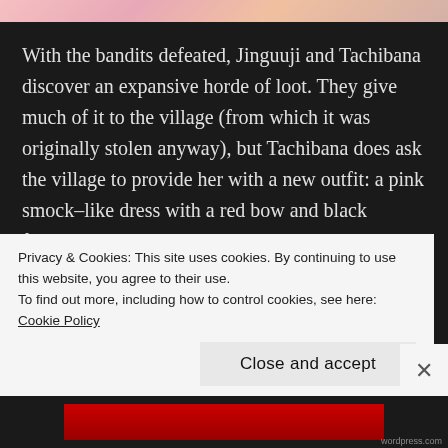[Figure (illustration): Partial view of an anime-style illustration showing a character in a pink outfit, cropped at the top of the page.]
With the bandits defeated, Jinguuji and Tachibana discover an expansive horde of loot. They give much of it to the village (from which it was originally stolen anyway), but Tachibana does ask the village to provide her with a new outfit: a pink smock–like dress with a red bow and black fingerless gloves. By now, Tachibana has started to embrace the “omnipotence” of cuteness.
Unfortunately, her “Troublemaker” passive skill results
Privacy & Cookies: This site uses cookies. By continuing to use this website, you agree to their use.
To find out more, including how to control cookies, see here: Cookie Policy
Close and accept